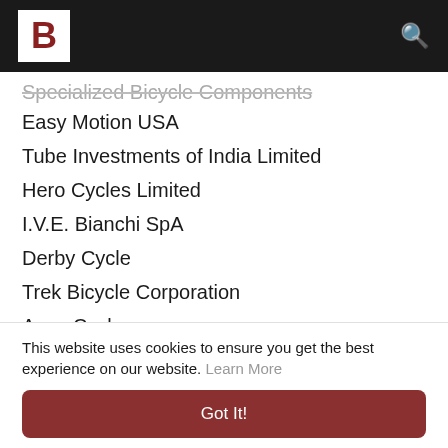B [logo] [search icon]
Specialized Bicycle Components
Easy Motion USA
Tube Investments of India Limited
Hero Cycles Limited
I.V.E. Bianchi SpA
Derby Cycle
Trek Bicycle Corporation
Avon Cycles
Tianjin Fuji-ta Group Co. Ltd
Moustache Bikes
Merida
Accell Group
Giant Bicycles
This website uses cookies to ensure you get the best experience on our website. Learn More
Got It!